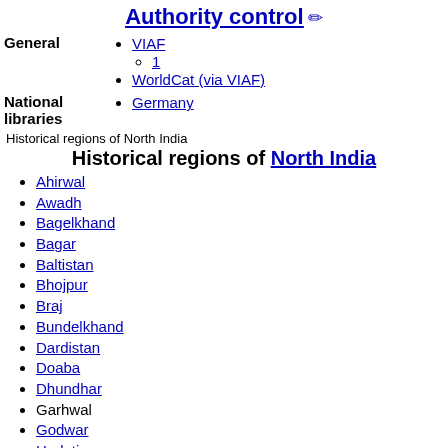Authority control
| Category | Links |
| --- | --- |
| General | VIAF
  1
WorldCat (via VIAF) |
| National libraries | Germany |
Historical regions of North India
Historical regions of North India
Ahirwal
Awadh
Bagelkhand
Bagar
Baltistan
Bhojpur
Braj
Bundelkhand
Dardistan
Doaba
Dhundhar
Garhwal
Godwar
Hadoti
Jammu